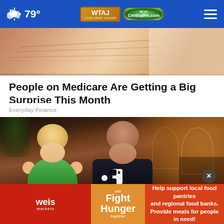79° WTAJ CentralPA.com
[Figure (photo): Close-up photo of skin/finger texture, partially visible at top]
People on Medicare Are Getting a Big Surprise This Month
Everyday Finance
[Figure (photo): A smiling couple dressed formally — woman in green dress with blonde hair, man in black tuxedo with white boutonniere — at what appears to be a formal event or gala]
[Figure (photo): Weis Markets Fight Hunger advertisement overlay — red Weis Markets logo on left, Fight Hunger Together text in orange middle section, Help support local food pantries and regional food banks text on orange-red right section. Close (X) button visible above ad.]